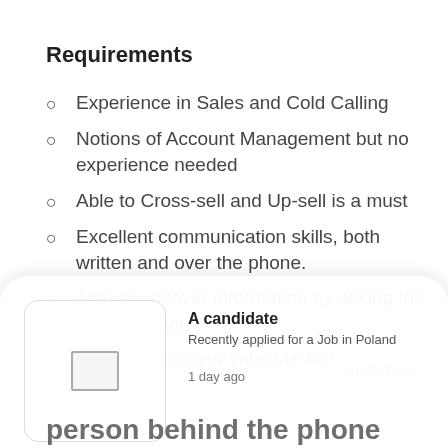Requirements
Experience in Sales and Cold Calling
Notions of Account Management but no experience needed
Able to Cross-sell and Up-sell is a must
Excellent communication skills, both written and over the phone.
Able to uncover information by asking the right questions
Eager to discover valuable insights
[Figure (other): A candidate notification card showing a person recently applied for a Job in Poland, 1 day ago, with an Apply Now button]
person behind the phone